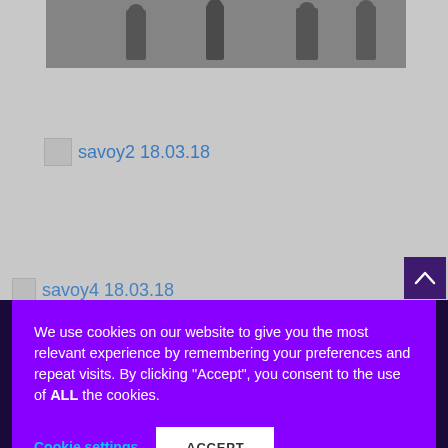[Figure (photo): Partial photo at top of page showing people in what appears to be a dance or exercise class setting]
savoy2 18.03.18
savoy4 18.03.18
We use cookies on our website to give you the most relevant experience by remembering your preferences and repeat visits. By clicking “Accept”, you consent to the use of ALL the cookies.
Cookie settings
ACCEPT
LIKE US ON FACEBOOK